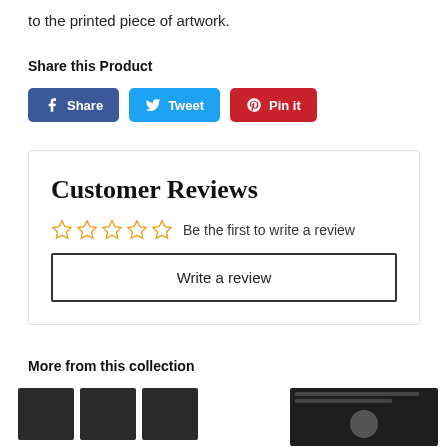to the printed piece of artwork.
Share this Product
[Figure (other): Social sharing buttons: Facebook Share, Twitter Tweet, Pinterest Pin it]
Customer Reviews
☆☆☆☆☆  Be the first to write a review
Write a review
More from this collection
[Figure (photo): Thumbnail images of products from the collection — three small dark framed prints on the left and one larger framed patent print on the right]